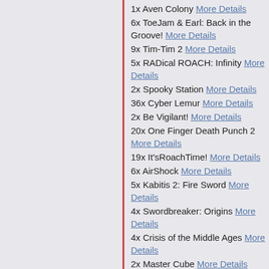1x Aven Colony More Details
6x ToeJam & Earl: Back in the Groove! More Details
9x Tim-Tim 2 More Details
5x RADical ROACH: Infinity More Details
2x Spooky Station More Details
36x Cyber Lemur More Details
2x Be Vigilant! More Details
20x One Finger Death Punch 2 More Details
19x It'sRoachTime! More Details
6x AirShock More Details
5x Kabitis 2: Fire Sword More Details
4x Swordbreaker: Origins More Details
4x Crisis of the Middle Ages More Details
2x Master Cube More Details
25x She Sees Red - Interactive Movie More Details
3x Pop'n'splat More Details
1x Ritbone More Details
1x Dofense More Details
4x Life on the hook More Details
14x P.3 More Details
6x 🀄🀄VR More Details